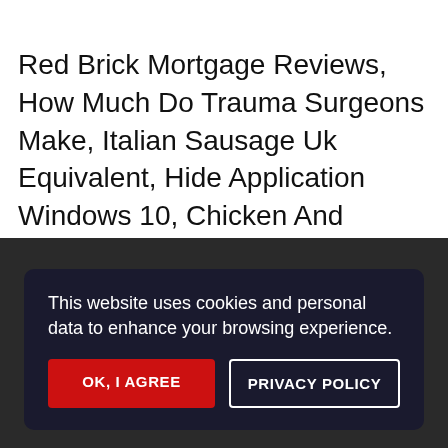Red Brick Mortgage Reviews, How Much Do Trauma Surgeons Make, Italian Sausage Uk Equivalent, Hide Application Windows 10, Chicken And Halloumi Rice, Ucsd Med School Acceptance Rate, Love Thy Neighbor Cast 1970s, Captains Bar Stool,
This website uses cookies and personal data to enhance your browsing experience.
OK, I AGREE
PRIVACY POLICY